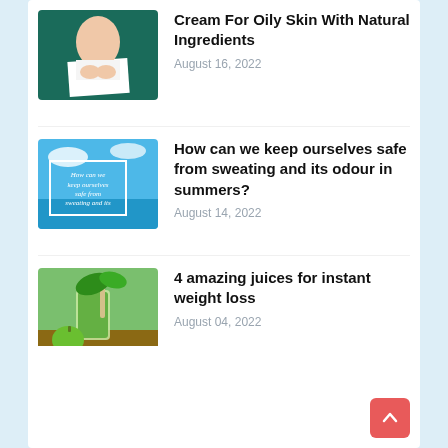[Figure (photo): Thumbnail of a person applying cream to hands, dark teal background with white torn paper effect]
Cream For Oily Skin With Natural Ingredients
August 16, 2022
[Figure (photo): Thumbnail with beach/sky background and white cursive text: 'How can we keep ourselves safe from sweating and its']
How can we keep ourselves safe from sweating and its odour in summers?
August 14, 2022
[Figure (photo): Thumbnail of a green juice/smoothie in a glass with green apple and green leaves]
4 amazing juices for instant weight loss
August 04, 2022